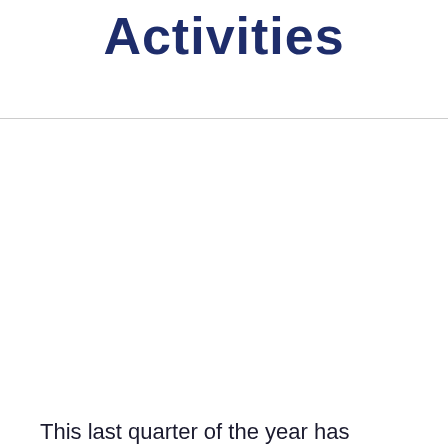Activities
This last quarter of the year has